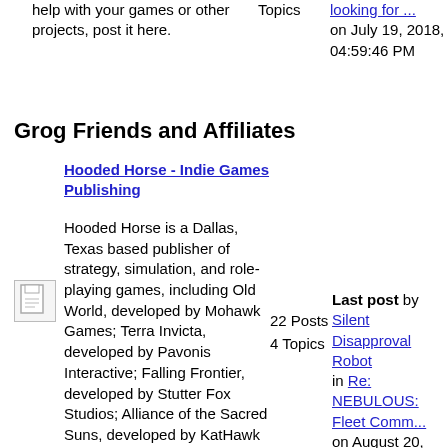help with your games or other projects, post it here.
Topics
looking for ... on July 19, 2018, 04:59:46 PM
Grog Friends and Affiliates
Hooded Horse - Indie Games Publishing
Hooded Horse is a Dallas, Texas based publisher of strategy, simulation, and role-playing games, including Old World, developed by Mohawk Games; Terra Invicta, developed by Pavonis Interactive; Falling Frontier, developed by Stutter Fox Studios; Alliance of the Sacred Suns, developed by KatHawk Studios; and The Map of Math...
22 Posts
4 Topics
Last post by Silent Disapproval Robot in Re: NEBULOUS: Fleet Comm... on August 20, 2022, 09:26:53 PM